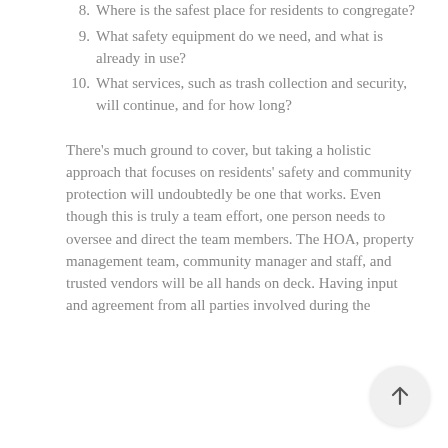8. Where is the safest place for residents to congregate?
9. What safety equipment do we need, and what is already in use?
10. What services, such as trash collection and security, will continue, and for how long?
There's much ground to cover, but taking a holistic approach that focuses on residents' safety and community protection will undoubtedly be one that works. Even though this is truly a team effort, one person needs to oversee and direct the team members. The HOA, property management team, community manager and staff, and trusted vendors will be all hands on deck. Having input and agreement from all parties involved during the